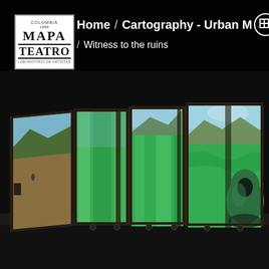[Figure (logo): Mapa Teatro logo — white box with border, text reads COLOMBIA, MAPA, TEATRO, laboratorio de artistas]
Home / Cartography - Urban M… / Witness to the ruins
[Figure (photo): Theater installation showing four large illuminated screens/panels arranged in a row displaying green fabric and mountainous landscape imagery. A person wearing a green hoodie sits on the floor in front of the rightmost panel, silhouetted against the bright green projection. The setting is a dark theater space.]